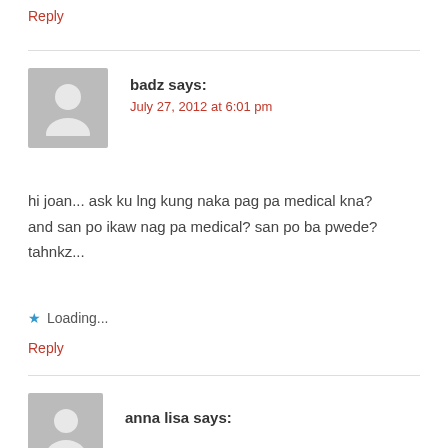Reply
badz says:
July 27, 2012 at 6:01 pm
hi joan... ask ku lng kung naka pag pa medical kna? and san po ikaw nag pa medical? san po ba pwede? tahnkz...
★ Loading...
Reply
anna lisa says: